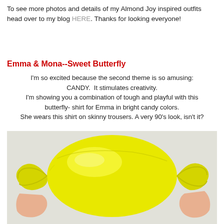To see more photos and details of my Almond Joy inspired outfits head over to my blog HERE. Thanks for looking everyone!
Emma & Mona--Sweet Butterfly
I'm so excited because the second theme is so amusing:
CANDY.  It stimulates creativity.
I'm showing you a combination of tough and playful with this butterfly- shirt for Emma in bright candy colors.
She wears this shirt on skinny trousers. A very 90's look, isn't it?
[Figure (photo): Person holding a large yellow candy-shaped plastic wrap, resembling a giant wrapped candy, against a light grey background]